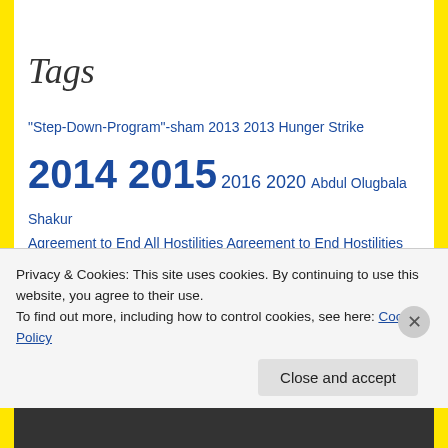Tags
"Step-Down-Program"-sham 2013 2013 Hunger Strike 2014 2015 2016 2020 Abdul Olugbala Shakur Agreement to End All Hostilities Agreement to End Hostilities Antonio Guillen Arturo Castellanos Ashker v. Brown Baridi Williamson California California tortures CCI-Tehachapi CDCr Center for Constitutional Rights (CCR) Changing
Privacy & Cookies: This site uses cookies. By continuing to use this website, you agree to their use. To find out more, including how to control cookies, see here: Cookie Policy